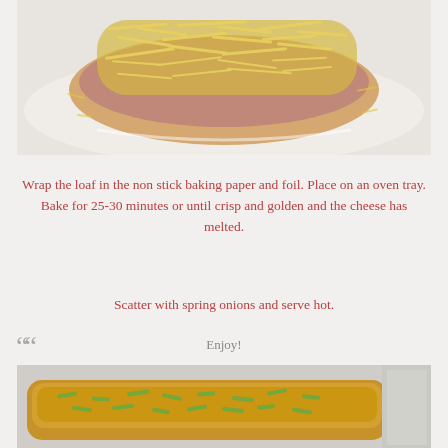[Figure (photo): Top-down view of a bread loaf topped with shredded cheese and ham/meat filling on a white plate, before baking]
Wrap the loaf in the non stick baking paper and foil. Place on an oven tray. Bake for 25-30 minutes or until crisp and golden and the cheese has melted.
Scatter with spring onions and serve hot.
Enjoy!
[Figure (photo): Baked bread loaf with melted cheese and green spring onions on top, wrapped in foil/paper]